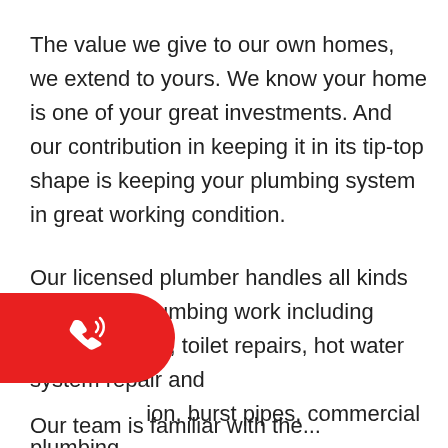The value we give to our own homes, we extend to yours. We know your home is one of your great investments. And our contribution in keeping it in its tip-top shape is keeping your plumbing system in great working condition.
Our licensed plumber handles all kinds of gas and plumbing work including blocked toilets, toilet repairs, hot water system repair and installation, burst pipes, commercial plumbing and gas installation.
[Figure (illustration): Red rounded button on the left side with a white phone/call icon]
Our team is familiar with the...